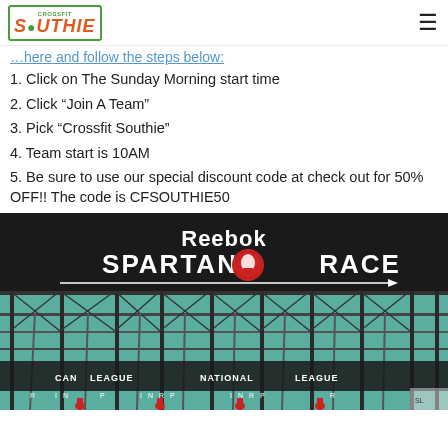CrossFit Southie logo + hamburger menu
…here and follow the steps below:
1. Click on The Sunday Morning start time
2. Click "Join A Team"
3. Pick "Crossfit Southie"
4. Team start is 10AM
5. Be sure to use our special discount code at check out for 50% OFF!! The code is CFSOUTHIE50
[Figure (photo): Reebok Spartan Race event banner and obstacle course scaffolding with athletes in red below]